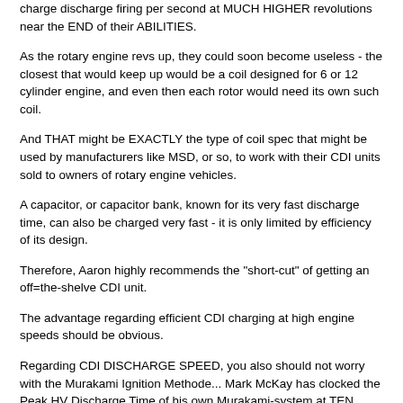charge discharge firing per second at MUCH HIGHER revolutions near the END of their ABILITIES.
As the rotary engine revs up, they could soon become useless - the closest that would keep up would be a coil designed for 6 or 12 cylinder engine, and even then each rotor would need its own such coil.
And THAT might be EXACTLY the type of coil spec that might be used by manufacturers like MSD, or so, to work with their CDI units sold to owners of rotary engine vehicles.
A capacitor, or capacitor bank, known for its very fast discharge time, can also be charged very fast - it is only limited by efficiency of its design.
Therefore, Aaron highly recommends the "short-cut" of getting an off=the-shelve CDI unit.
The advantage regarding efficient CDI charging at high engine speeds should be obvious.
Regarding CDI DISCHARGE SPEED, you also should not worry with the Murakami Ignition Methode... Mark McKay has clocked the Peak HV Discharge Time of his own Murakami-system at TEN NANOSECONDS, and the LV at UNDER 100 MICRO SECONDS (if I remember correctly from the Gray Tube thread).
So the worry is not at the discharge time needed for even as short as needed in a rotary engine, but CHARGE UP ABILITY right up to the high revs.